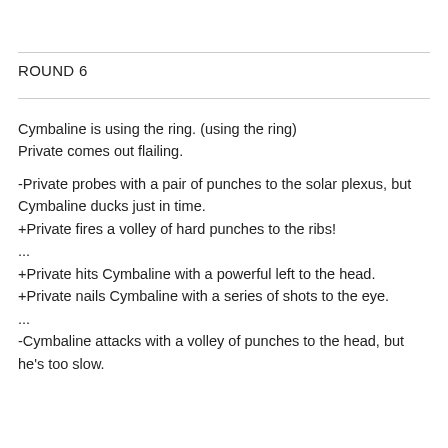ROUND 6
Cymbaline is using the ring. (using the ring)
Private comes out flailing.

-Private probes with a pair of punches to the solar plexus, but Cymbaline ducks just in time.
+Private fires a volley of hard punches to the ribs!
...
+Private hits Cymbaline with a powerful left to the head.
+Private nails Cymbaline with a series of shots to the eye.
...
-Cymbaline attacks with a volley of punches to the head, but he's too slow.